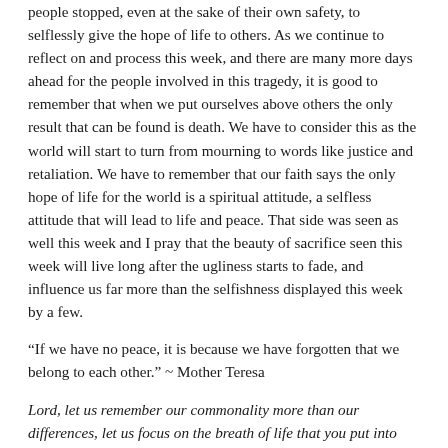people stopped, even at the sake of their own safety, to selflessly give the hope of life to others. As we continue to reflect on and process this week, and there are many more days ahead for the people involved in this tragedy, it is good to remember that when we put ourselves above others the only result that can be found is death. We have to consider this as the world will start to turn from mourning to words like justice and retaliation. We have to remember that our faith says the only hope of life for the world is a spiritual attitude, a selfless attitude that will lead to life and peace. That side was seen as well this week and I pray that the beauty of sacrifice seen this week will live long after the ugliness starts to fade, and influence us far more than the selfishness displayed this week by a few.
“If we have no peace, it is because we have forgotten that we belong to each other.” ~ Mother Teresa
Lord, let us remember our commonality more than our differences, let us focus on the breath of life that you put into each person, and let us live our lives for each other and not for ourselves. In this way may the life that you intended for us be brought to reality here in this world, and the prayer that many of us pray each Sunday be